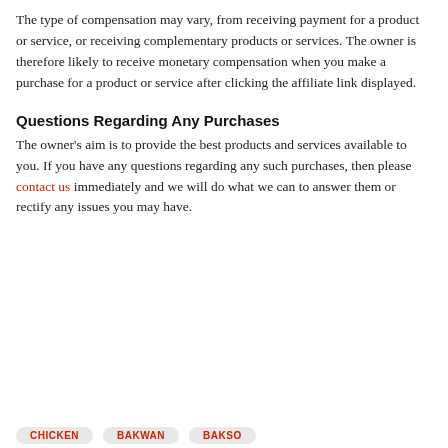The type of compensation may vary, from receiving payment for a product or service, or receiving complementary products or services. The owner is therefore likely to receive monetary compensation when you make a purchase for a product or service after clicking the affiliate link displayed.
Questions Regarding Any Purchases
The owner's aim is to provide the best products and services available to you. If you have any questions regarding any such purchases, then please contact us immediately and we will do what we can to answer them or rectify any issues you may have.
CHICKEN
BAKWAN
BAKSO